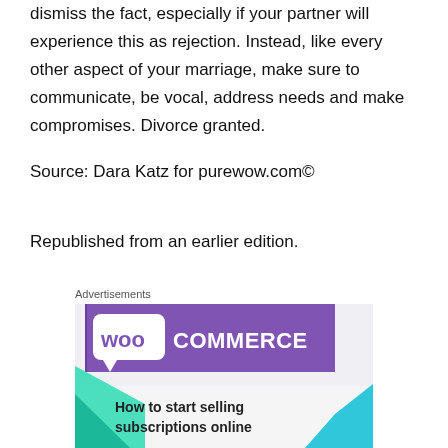dismiss the fact, especially if your partner will experience this as rejection. Instead, like every other aspect of your marriage, make sure to communicate, be vocal, address needs and make compromises. Divorce granted.
Source: Dara Katz for purewow.com©
Republished from an earlier edition.
Advertisements
[Figure (illustration): WooCommerce advertisement banner showing the WooCommerce logo on a purple background with teal and blue triangular design elements, and text reading 'How to start selling subscriptions online']